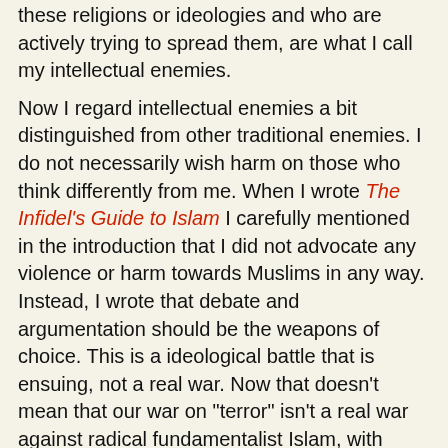these religions or ideologies and who are actively trying to spread them, are what I call my intellectual enemies.
Now I regard intellectual enemies a bit distinguished from other traditional enemies. I do not necessarily wish harm on those who think differently from me. When I wrote The Infidel's Guide to Islam I carefully mentioned in the introduction that I did not advocate any violence or harm towards Muslims in any way. Instead, I wrote that debate and argumentation should be the weapons of choice. This is a ideological battle that is ensuing, not a real war. Now that doesn't mean that our war on "terror" isn't a real war against radical fundamentalist Islam, with casualties mounting on both sides. What I mean is that we simply cannot kill our way to destroying Islamists and theocrats; the war must inevitably be won with argumentation and persuasion. Lovers of freedom and secularism must win the opinion war against those who assert that a politicized and literalist interpretation of religion be forced on the masses. So I'll take a moderate Muslim over a fundamentalist any day. I'll take a cafeteria Christian over a fundamentalist any day as well. I'd take a secular humanist over all of them, although I wouldn't necessarily judge a person solely by their religious beliefs.